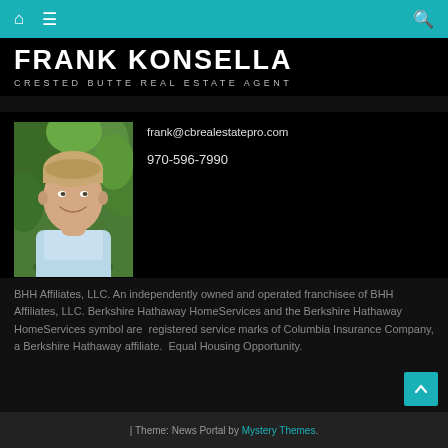Frank Konsella - Crested Butte Real Estate Agent
FRANK KONSELLA
CRESTED BUTTE REAL ESTATE AGENT
[Figure (photo): Headshot photo of Frank Konsella, a man smiling outdoors against green foliage background, wearing a light blue shirt]
frank@cbrealestatepro.com
970-596-7990
BHH Affiliates, LLC. An independently owned and operated franchisee of BHH Affiliates, LLC. Berkshire Hathaway HomeServices and the Berkshire Hathaway HomeServices symbol are registered service marks of Columbia Insurance Company, a Berkshire Hathaway affiliate. Equal Housing Opportunity.
| Theme: News Portal by Mystery Themes.